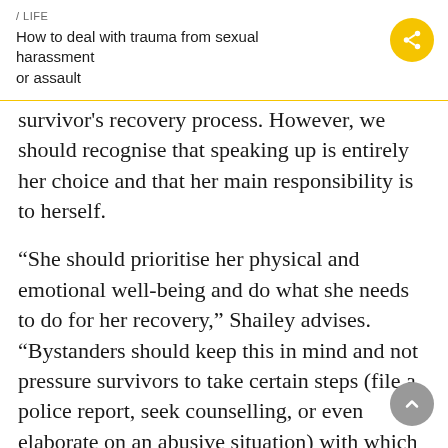/ LIFE
How to deal with trauma from sexual harassment or assault
survivor's recovery process. However, we should recognise that speaking up is entirely her choice and that her main responsibility is to herself.
“She should prioritise her physical and emotional well-being and do what she needs to do for her recovery,” Shailey advises. “Bystanders should keep this in mind and not pressure survivors to take certain steps (file a police report, seek counselling, or even elaborate on an abusive situation) with which they are not comfortable.”
Women should also find the type of therapy that’s best suited for them in this situation.